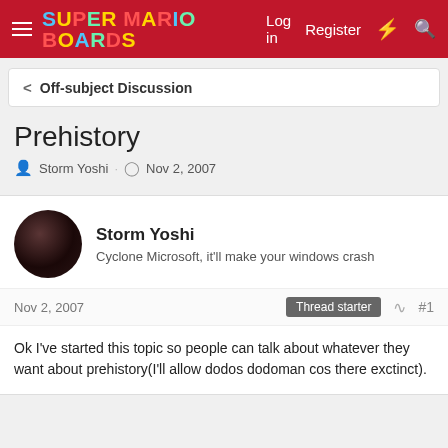Super Mario Boards — Log in  Register
< Off-subject Discussion
Prehistory
Storm Yoshi · Nov 2, 2007
Storm Yoshi
Cyclone Microsoft, it'll make your windows crash
Nov 2, 2007  Thread starter  #1
Ok I've started this topic so people can talk about whatever they want about prehistory(I'll allow dodos dodoman cos there exctinct).